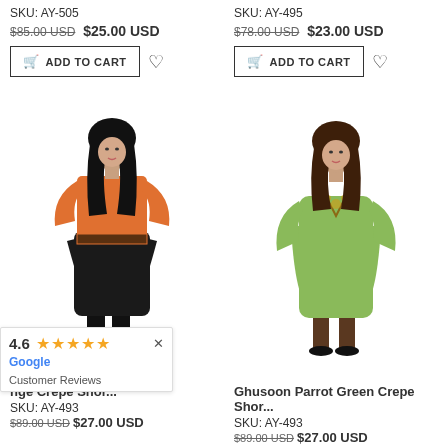SKU: AY-505
$85.00 USD $25.00 USD
SKU: AY-495
$78.00 USD $23.00 USD
[Figure (photo): Woman wearing orange and black short abaya with black hijab]
[Figure (photo): Woman wearing parrot green short abaya with brown hijab]
nge Crepe Shor...
Ghusoon Parrot Green Crepe Shor...
SKU: AY-493
$89.00 USD $27.00 USD
00 USD